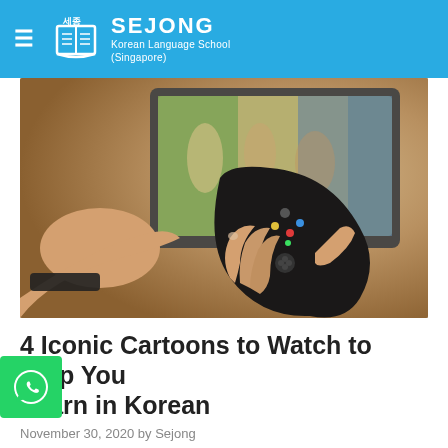Sejong Korean Language School (Singapore)
[Figure (photo): A hand holding a TV remote control pointed toward a blurred television screen in the background, set in a warm-toned room.]
4 Iconic Cartoons to Watch to Help You Learn in Korean
November 30, 2020 by Sejong